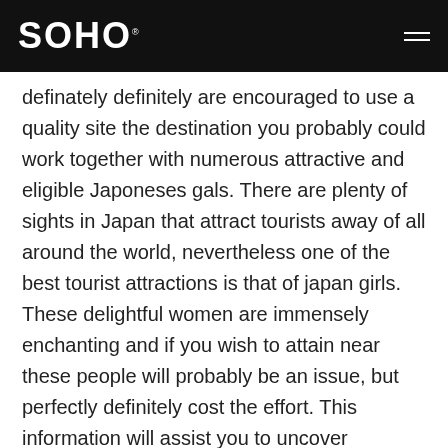SOHO
definately definitely are encouraged to use a quality site the destination you probably could work together with numerous attractive and eligible Japoneses gals. There are plenty of sights in Japan that attract tourists away of all around the world, nevertheless one of the best tourist attractions is that of japan girls. These delightful women are immensely enchanting and if you wish to attain near these people will probably be an issue, but perfectly definitely cost the effort. This information will assist you to uncover guidelines on how to meet Japan women and start getting the probability to see these individuals up closed. AsianDate is within the internet courting